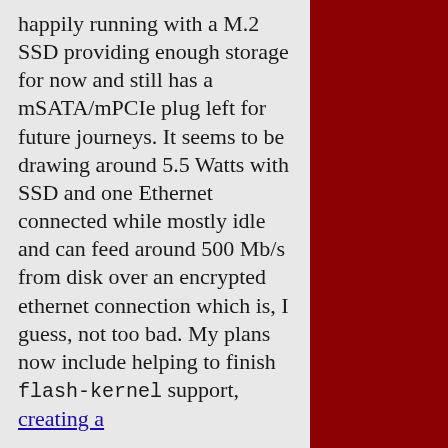happily running with a M.2 SSD providing enough storage for now and still has a mSATA/mPCIe plug left for future journeys. It seems to be drawing around 5.5 Watts with SSD and one Ethernet connected while mostly idle and can feed around 500 Mb/s from disk over an encrypted ethernet connection which is, I guess, not too bad. My plans now include helping to finish flash-kernel support, creating a